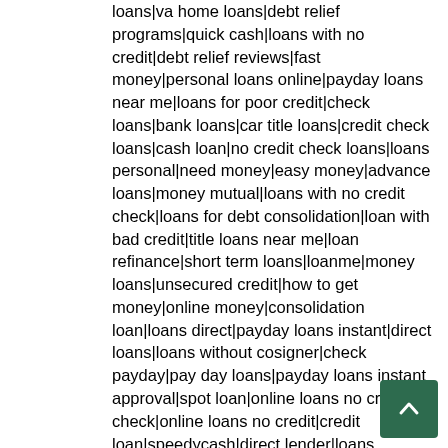loans|va home loans|debt relief programs|quick cash|loans with no credit|debt relief reviews|fast money|personal loans online|payday loans near me|loans for poor credit|check loans|bank loans|car title loans|credit check loans|cash loan|no credit check loans|loans personal|need money|easy money|advance loans|money mutual|loans with no credit check|loans for debt consolidation|loan with bad credit|title loans near me|loan refinance|short term loans|loanme|money loans|unsecured credit|how to get money|online money|consolidation loan|loans direct|payday loans instant|direct loans|loans without cosigner|check payday|pay day loans|payday loans instant approval|spot loan|online loans no credit check|online loans no credit|credit loan|speedycash|direct lender|loans rates|loans online instant approval|loans direct lenders|loan debt|cash advance loans|small loans|bad credit car loans|unsecured personal loans|best personal loans|cash online|cash now|online loans instant|online loans instant approval|best debt consolidation|personal loans for debt consolidation|loan rates today|bank loan|loans for people with bad credit|conforming loan|no credit check payday|money lenders|loan company|dollar loan|best student loans|loans gov|student loan debt|credit check payday|credit personal loans|payday loans direct|ez money|payday cash|lending tree loan|lendingtree personal loans|unsecured loans|consolidation loans for bad credit|bad credit personal loans|rapid cash|loan source|installment payment|loan payments|credit check payday loans|installment loans for bad